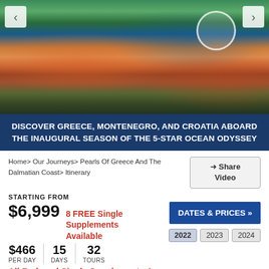[Figure (photo): Aerial view of coastal Mediterranean town with red-roofed buildings, lush greenery, and blue water]
DISCOVER GREECE, MONTENEGRO, AND CROATIA ABOARD THE INAUGURAL SEASON OF THE 5-STAR OCEAN ODYSSEY
Home > Our Journeys > Pearls Of Greece And The Dalmatian Coast > Itinerary
Share Video
STARTING FROM
$6,999
8 FREE Single Supplements Available
DATES & PRICES »
$466 PER DAY
15 DAYS
32 TOURS
2022  2023  2024
All Reduced Single Supplements Are Sold Out
SHARE WITH A FRIEND
TRIP WITH AIR